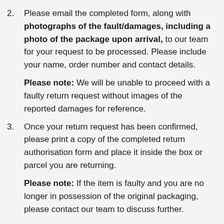2. Please email the completed form, along with photographs of the fault/damages, including a photo of the package upon arrival, to our team for your request to be processed. Please include your name, order number and contact details.
Please note: We will be unable to proceed with a faulty return request without images of the reported damages for reference.
3. Once your return request has been confirmed, please print a copy of the completed return authorisation form and place it inside the box or parcel you are returning.
Please note: If the item is faulty and you are no longer in possession of the original packaging, please contact our team to discuss further.